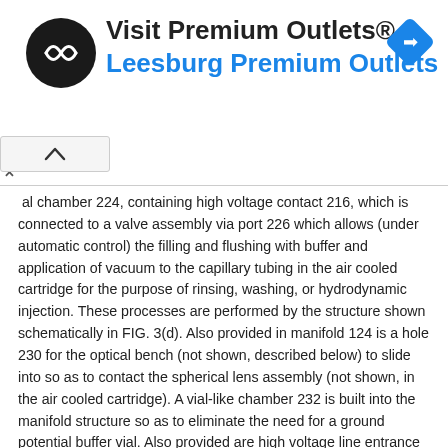[Figure (other): Advertisement banner for Visit Premium Outlets® / Leesburg Premium Outlets with circular logo and navigation icon]
al chamber 224, containing high voltage contact 216, which is connected to a valve assembly via port 226 which allows (under automatic control) the filling and flushing with buffer and application of vacuum to the capillary tubing in the air cooled cartridge for the purpose of rinsing, washing, or hydrodynamic injection. These processes are performed by the structure shown schematically in FIG. 3(d). Also provided in manifold 124 is a hole 230 for the optical bench (not shown, described below) to slide into so as to contact the spherical lens assembly (not shown, in the air cooled cartridge). A vial-like chamber 232 is built into the manifold structure so as to eliminate the need for a ground potential buffer vial. Also provided are high voltage line entrance 236 and high potential vial holder 238.
Bar Code on Cartridge
In accordance with the invention as shown in FIG. 4, air cooled cartridge 130 is marked with a bar code index 246 at a convenient location to identify the particular cassette. Also, additional information is included in bar code index 246. This information includes the length of capillary tube 162 in that particular cassette. The length of the tube is a primary